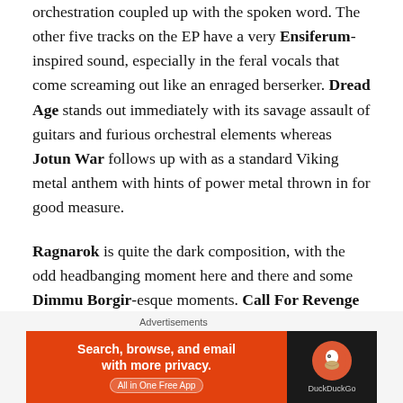orchestration coupled up with the spoken word. The other five tracks on the EP have a very Ensiferum-inspired sound, especially in the feral vocals that come screaming out like an enraged berserker. Dread Age stands out immediately with its savage assault of guitars and furious orchestral elements whereas Jotun War follows up with as a standard Viking metal anthem with hints of power metal thrown in for good measure.
Ragnarok is quite the dark composition, with the odd headbanging moment here and there and some Dimmu Borgir-esque moments. Call For Revenge gets the blood pumping with the Ensiferum influenced sound and powerful use of orchestration in the background. Call of
[Figure (other): DuckDuckGo advertisement banner: orange left panel with text 'Search, browse, and email with more privacy. All in One Free App' and dark right panel with DuckDuckGo logo]